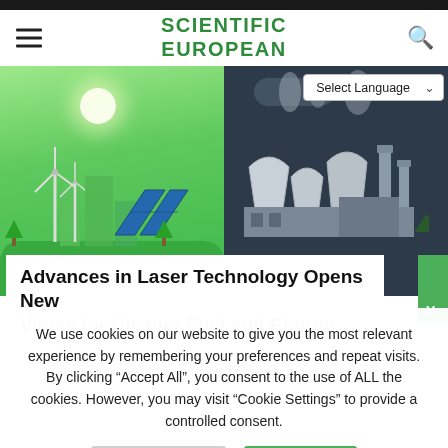SCIENTIFIC EUROPEAN
[Figure (illustration): Split hero image: left half shows green renewable energy scene with wind turbines and solar panels against a bright green sky with sun; right half shows dark industrial scene with factory smokestacks emitting smoke against a dark grey sky]
Advances in Laser Technology Opens New Vistas for Cleaner Fuel and Energy
We use cookies on our website to give you the most relevant experience by remembering your preferences and repeat visits. By clicking “Accept All”, you consent to the use of ALL the cookies. However, you may visit “Cookie Settings” to provide a controlled consent.